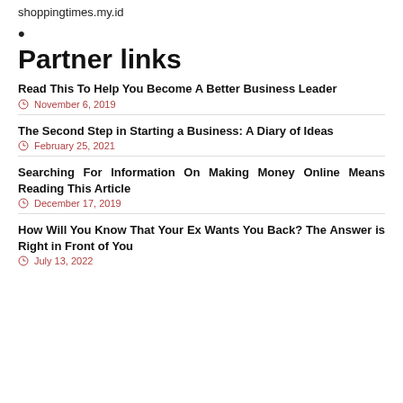shoppingtimes.my.id
•
Partner links
Read This To Help You Become A Better Business Leader
November 6, 2019
The Second Step in Starting a Business: A Diary of Ideas
February 25, 2021
Searching For Information On Making Money Online Means Reading This Article
December 17, 2019
How Will You Know That Your Ex Wants You Back? The Answer is Right in Front of You
July 13, 2022